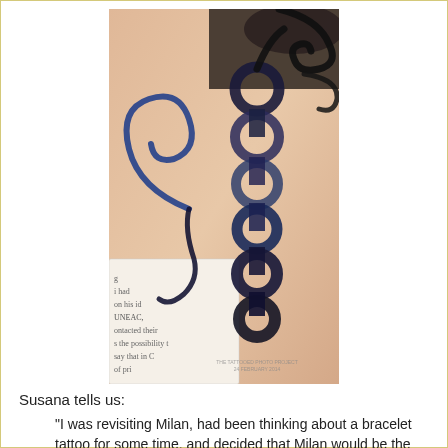[Figure (photo): Close-up photograph of a wrist tattoo showing a decorative bracelet design with chain-like circles and swirling vine/spiral elements in black and blue ink. A book or document is partially visible beneath the wrist, with partial text visible including 'UNEAC,' and 'contacted their', 'the possibility t', 'say that in C', 'of pr'. A watermark reads 'THE TATTOOED PHOTO PROJECT 24 FEBRUARY 2014'.]
Susana tells us:
"I was revisiting Milan, had been thinking about a bracelet tattoo for some time, and decided that Milan would be the perfect place to have this done, since it seems every other person who